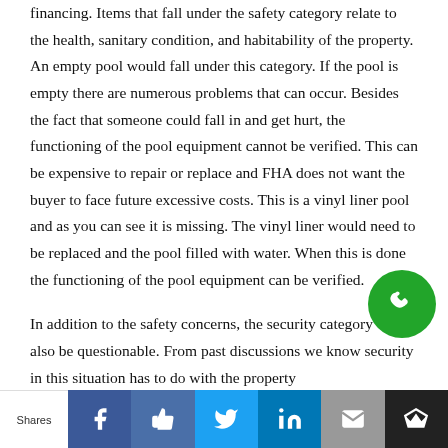financing.  Items that fall under the safety category relate to the health, sanitary condition, and habitability of the property.  An empty pool would fall under this category.  If the pool is empty there are numerous problems that can occur.  Besides the fact that someone could fall in and get hurt, the functioning of the pool equipment cannot be verified.  This can be expensive to repair or replace and FHA does not want the buyer to face future excessive costs.  This is a vinyl liner pool and as you can see it is missing.  The vinyl liner would need to be replaced and the pool filled with water.  When this is done the functioning of the pool equipment can be verified.
In addition to the safety concerns, the security category would also be questionable.  From past discussions we know security in this situation has to do with the property
[Figure (other): Green circular phone/call button icon in bottom-right area of page]
Shares | Facebook | Like | Twitter | LinkedIn | Email | Crown